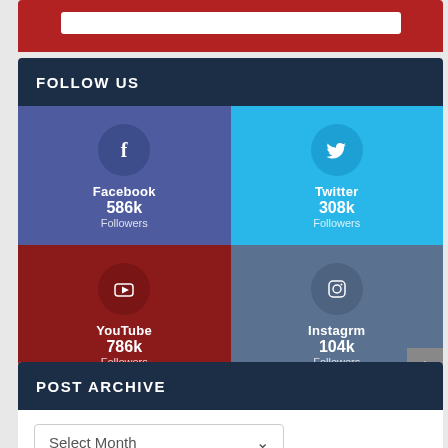[Figure (screenshot): Top red bar with white search input]
FOLLOW US
[Figure (infographic): Social media follow widget with four cells: Facebook 586k Followers, Twitter 308k Followers, YouTube 786k Followers, Instagrm 104k Followers]
POST ARCHIVE
Select Month